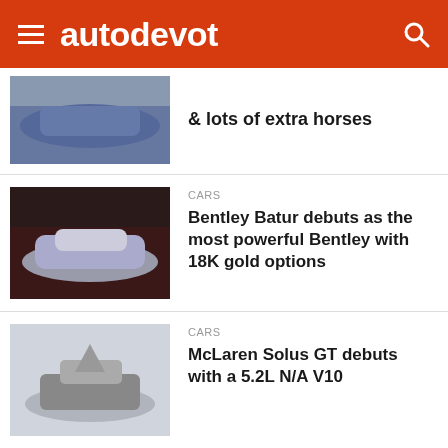autodevot
& lots of extra horses
CARS
Bentley Batur debuts as the most powerful Bentley with 18K gold options
CARS
McLaren Solus GT debuts with a 5.2L N/A V10
CARS
Koenigsegg CC850 debuts with a dual-role transmission